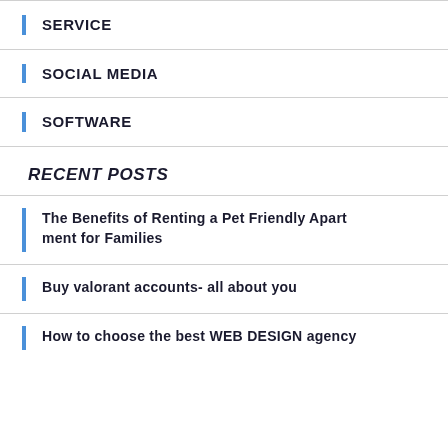SERVICE
SOCIAL MEDIA
SOFTWARE
RECENT POSTS
The Benefits of Renting a Pet Friendly Apartment for Families
Buy valorant accounts- all about you
How to choose the best WEB DESIGN agency